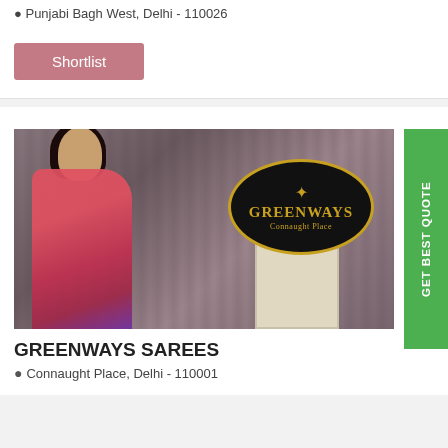📍 Punjabi Bagh West, Delhi - 110026
Shortlist
[Figure (photo): Photo of a woman wearing a pink/red saree, seated near a luxury chair with decorative curtains in the background. The Greenways Connaught Place logo (gold text on black oval) is visible in the upper right of the image.]
GREENWAYS SAREES
📍 Connaught Place, Delhi - 110001